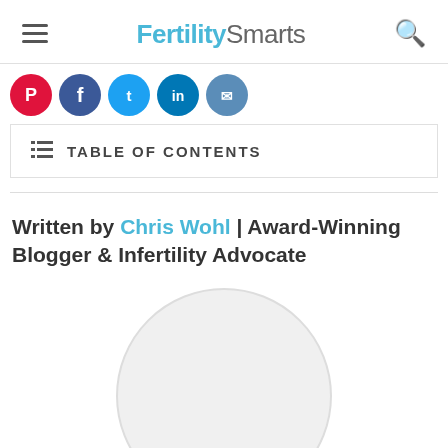FertilitySmarts
[Figure (illustration): Social media sharing icons: Pinterest (red), Facebook (blue), Twitter (light blue), LinkedIn (dark blue), and one more (blue-grey) in circular buttons]
TABLE OF CONTENTS
Written by Chris Wohl | Award-Winning Blogger & Infertility Advocate
[Figure (photo): Circular avatar/profile photo placeholder with light grey background and border, partially visible at bottom of page]